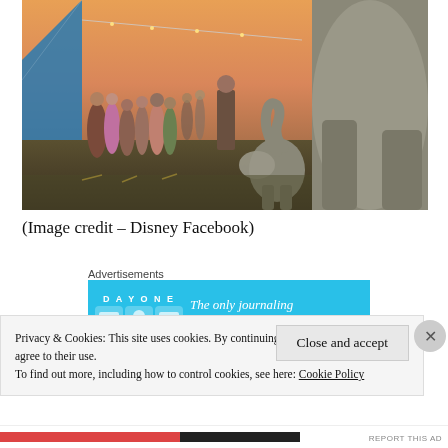[Figure (photo): A movie scene from Dumbo showing crowds of circus-goers at dusk near large tents with string lights, and a baby elephant (Dumbo) touching a large adult elephant, set in a golden-hour outdoor circus environment.]
(Image credit – Disney Facebook)
Advertisements
[Figure (screenshot): A blue advertisement banner for the Day One journaling app showing app icons and the text: 'The only journaling app you'll ever need.']
Privacy & Cookies: This site uses cookies. By continuing to use this website, you agree to their use.
To find out more, including how to control cookies, see here: Cookie Policy
Close and accept